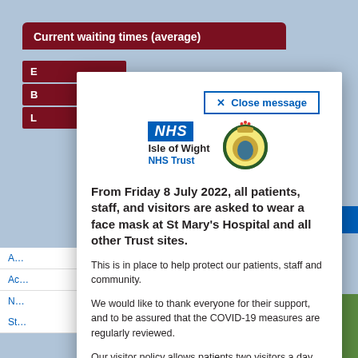Current waiting times (average)
[Figure (screenshot): NHS Isle of Wight NHS Trust logo with blue NHS box and royal crest emblem]
✕ Close message
From Friday 8 July 2022, all patients, staff, and visitors are asked to wear a face mask at St Mary's Hospital and all other Trust sites.
This is in place to help protect our patients, staff and community.
We would like to thank everyone for their support, and to be assured that the COVID-19 measures are regularly reviewed.
Our visitor policy allows patients two visitors a day, for up to an hour.